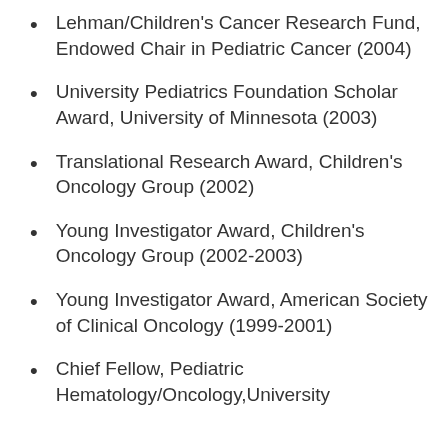Lehman/Children's Cancer Research Fund, Endowed Chair in Pediatric Cancer (2004)
University Pediatrics Foundation Scholar Award, University of Minnesota (2003)
Translational Research Award, Children's Oncology Group (2002)
Young Investigator Award, Children's Oncology Group (2002-2003)
Young Investigator Award, American Society of Clinical Oncology (1999-2001)
Chief Fellow, Pediatric Hematology/Oncology,University